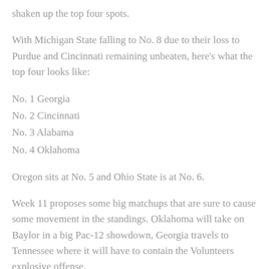shaken up the top four spots.
With Michigan State falling to No. 8 due to their loss to Purdue and Cincinnati remaining unbeaten, here’s what the top four looks like:
No. 1 Georgia
No. 2 Cincinnati
No. 3 Alabama
No. 4 Oklahoma
Oregon sits at No. 5 and Ohio State is at No. 6.
Week 11 proposes some big matchups that are sure to cause some movement in the standings. Oklahoma will take on Baylor in a big Pac-12 showdown, Georgia travels to Tennessee where it will have to contain the Volunteers explosive offense.